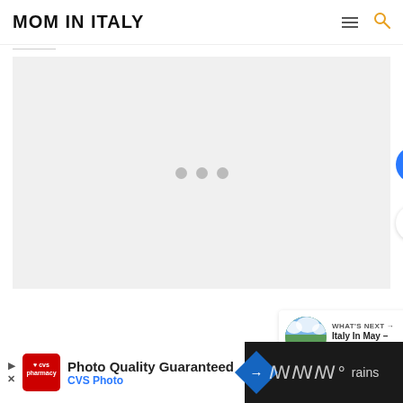MOM IN ITALY
[Figure (screenshot): Loading content area with three grey dots indicating content loading, on light grey background]
[Figure (infographic): Heart/like button (blue circle), count of 1, share button below]
[Figure (infographic): What's Next widget: thumbnail of green field with clouds, label WHAT'S NEXT with arrow, text 'Italy In May – Your 2022...']
[Figure (screenshot): Ad bar at bottom: CVS Photo ad on white, 'Photo Quality Guaranteed / CVS Photo' with navigation icon; dark right panel with weather widget text 'rains']